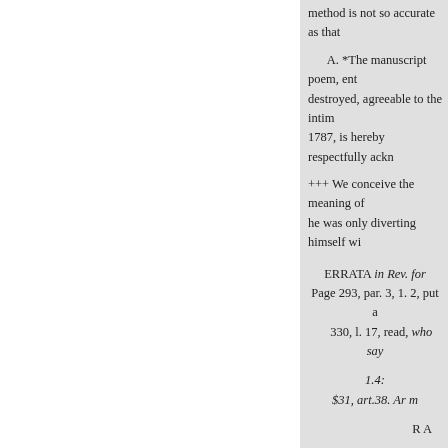method is not so accurate as that
A. *The manuscript poem, ent destroyed, agreeable to the intim 1787, is hereby respectfully ackn
+++ We conceive the meaning of he was only diverting himself wi
ERRATA in Rev. for Page 293, par. 3, 1. 2, put a 330, l. 17, read, who say
1.4: $31, art.38. Ar m
R A
522. 1.5.
In June
A P P E N DI X
TO THE